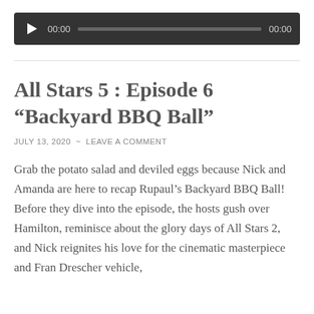[Figure (other): Audio player widget with dark background showing play button, time display 00:00, progress bar, and end time 00:00]
All Stars 5 : Episode 6 “Backyard BBQ Ball”
JULY 13, 2020  ~  LEAVE A COMMENT
Grab the potato salad and deviled eggs because Nick and Amanda are here to recap Rupaul’s Backyard BBQ Ball! Before they dive into the episode, the hosts gush over Hamilton, reminisce about the glory days of All Stars 2, and Nick reignites his love for the cinematic masterpiece and Fran Drescher vehicle,